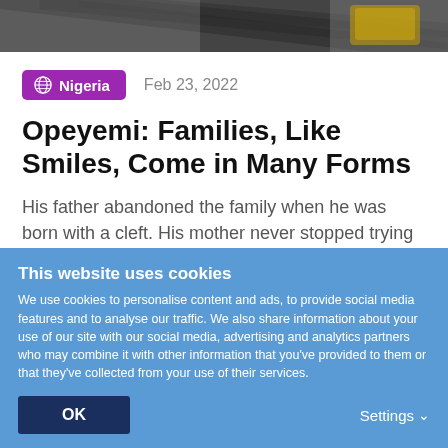[Figure (photo): Top portion of a photo showing clothing with zebra-stripe and colorful pattern, cropped at top of page]
Nigeria   Feb 23, 2022
Opeyemi: Families, Like Smiles, Come in Many Forms
His father abandoned the family when he was born with a cleft. His mother never stopped trying to make him smile
This website uses cookies
We use cookies to personalise content and ads, to provide social media features and to analyse our traffic. We also share information about your use of our site with our social media, advertising and analytics partners who may combine it with other information that you've provided to them or that they've collected from your use of their services.
OK
Settings